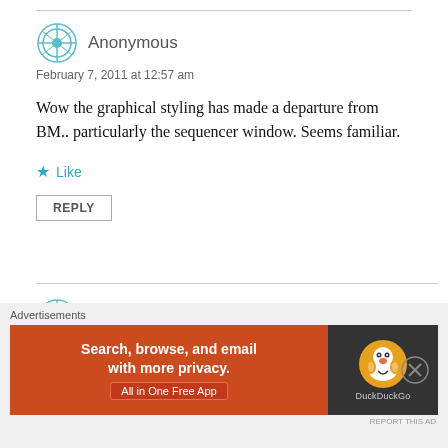Anonymous
February 7, 2011 at 12:57 am
Wow the graphical styling has made a departure from BM.. particularly the sequencer window. Seems familiar.
Like
REPLY
Paul
February 7, 2011 at 3:01 am
Advertisements
[Figure (infographic): DuckDuckGo advertisement banner: Search, browse, and email with more privacy. All in One Free App. DuckDuckGo logo on dark background.]